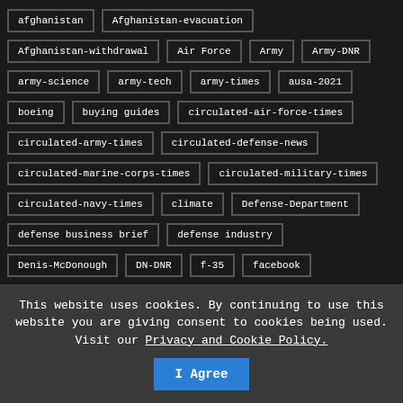afghanistan
Afghanistan-evacuation
Afghanistan-withdrawal
Air Force
Army
Army-DNR
army-science
army-tech
army-times
ausa-2021
boeing
buying guides
circulated-air-force-times
circulated-army-times
circulated-defense-news
circulated-marine-corps-times
circulated-military-times
circulated-navy-times
climate
Defense-Department
defense business brief
defense industry
Denis-McDonough
DN-DNR
f-35
facebook
Joe-Biden
kabul
lockheed martin
This website uses cookies. By continuing to use this website you are giving consent to cookies being used. Visit our Privacy and Cookie Policy.
I Agree